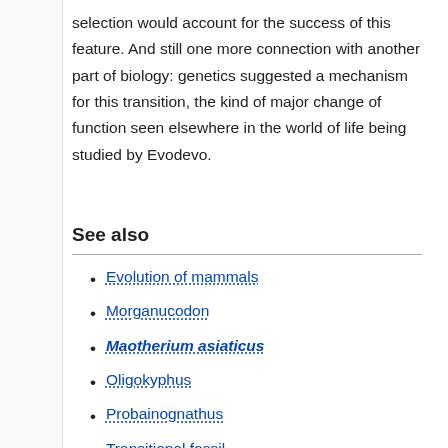selection would account for the success of this feature. And still one more connection with another part of biology: genetics suggested a mechanism for this transition, the kind of major change of function seen elsewhere in the world of life being studied by Evodevo.
See also
Evolution of mammals
Morganucodon
Maotherium asiaticus
Oligokyphus
Probainognathus
Transitional fossil
Yanoconodon